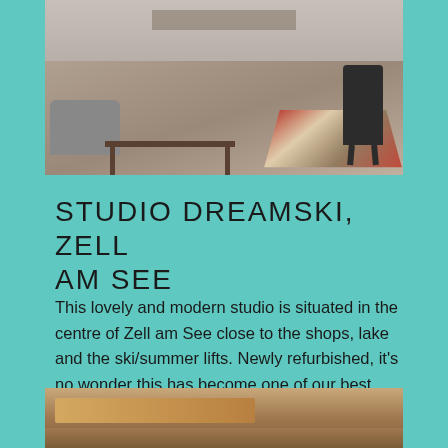[Figure (photo): Interior photo of a modern studio apartment showing hardwood floors, a dining table, chairs, sofa, and decorative rugs]
STUDIO DREAMSKI, ZELL AM SEE
This lovely and modern studio is situated in the centre of Zell am See close to the shops, lake and the ski/summer lifts. Newly refurbished, it's no wonder this has become one of our best selling properties. Offers a fully equipped kitchen, double bed, balcony and bath/shower. Sleeps 2
[Figure (photo): Partial photo showing interior wooden beams or ceiling detail of the studio]